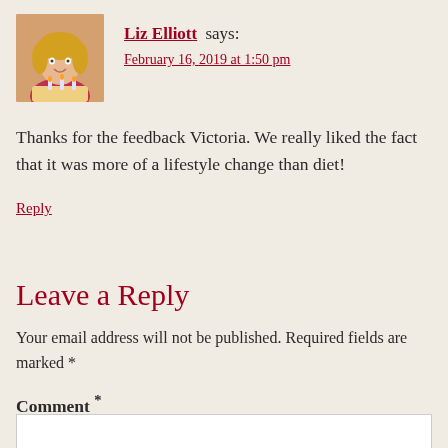[Figure (photo): Avatar photo of Liz Elliott, a woman with blonde hair holding a cake with candles]
Liz Elliott says:
February 16, 2019 at 1:50 pm
Thanks for the feedback Victoria. We really liked the fact that it was more of a lifestyle change than diet!
Reply
Leave a Reply
Your email address will not be published. Required fields are marked *
Comment *